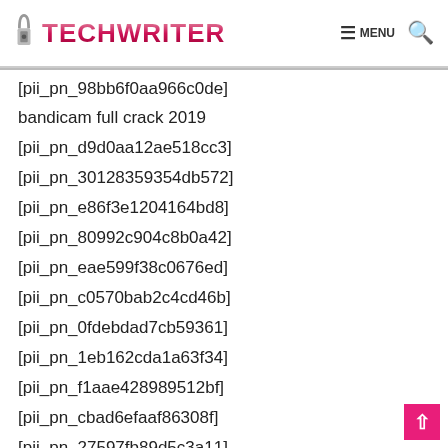TECHWRITER | MENU
[pii_pn_98bb6f0aa966c0de]
bandicam full crack 2019
[pii_pn_d9d0aa12ae518cc3]
[pii_pn_30128359354db572]
[pii_pn_e86f3e1204164bd8]
[pii_pn_80992c904c8b0a42]
[pii_pn_eae599f38c0676ed]
[pii_pn_c0570bab2c4cd46b]
[pii_pn_0fdebdad7cb59361]
[pii_pn_1eb162cda1a63f34]
[pii_pn_f1aae428989512bf]
[pii_pn_cbad6efaaf86308f]
[pii_pn_27597fb89d5c3a11]